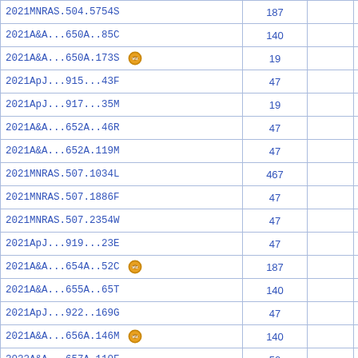| Reference | Count |  |  |
| --- | --- | --- | --- |
| 2021MNRAS.504.5754S | 187 |  |  |
| 2021A&A...650A..85C | 140 |  |  |
| 2021A&A...650A.173S [vizier] | 19 |  | D |
| 2021ApJ...915...43F | 47 |  |  |
| 2021ApJ...917...35M | 19 |  | D |
| 2021A&A...652A..46R | 47 |  |  |
| 2021A&A...652A.119M | 47 |  |  |
| 2021MNRAS.507.1034L | 467 |  |  |
| 2021MNRAS.507.1886F | 47 |  |  |
| 2021MNRAS.507.2354W | 47 |  |  |
| 2021ApJ...919...23E | 47 |  |  |
| 2021A&A...654A..52C [vizier] | 187 |  |  |
| 2021A&A...655A..65T | 140 |  |  |
| 2021ApJ...922..169G | 47 |  |  |
| 2021A&A...656A.146M [vizier] | 140 |  |  |
| 2022A&A...657A.110F | 50 |  |  |
| 2022A&A...657A.136E [vizier] | 100 |  |  |
| 2022ApJ...925...11D | 50 |  |  |